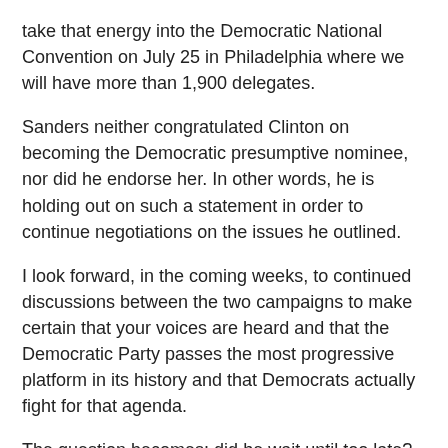take that energy into the Democratic National Convention on July 25 in Philadelphia where we will have more than 1,900 delegates.
Sanders neither congratulated Clinton on becoming the Democratic presumptive nominee, nor did he endorse her. In other words, he is holding out on such a statement in order to continue negotiations on the issues he outlined.
I look forward, in the coming weeks, to continued discussions between the two campaigns to make certain that your voices are heard and that the Democratic Party passes the most progressive platform in its history and that Democrats actually fight for that agenda.
The question becomes: did he wait until too late? What is